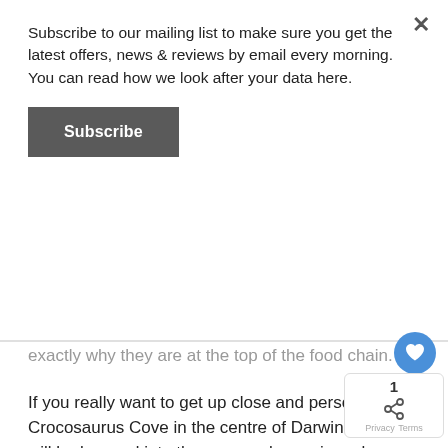Subscribe to our mailing list to make sure you get the latest offers, news & reviews by email every morning. You can read how we look after your data here.
[Figure (other): Subscribe button — dark grey rectangular button with white bold text 'Subscribe']
exactly why they are at the top of the food chain.
If you really want to get up close and personal, visit Crocosaurus Cove in the centre of Darwin – you will be lowered into the croc enclosure in a glass cage, allowing you to see eye to eye with one of the most ancient (and dangerous) creatures still roaming the earth.